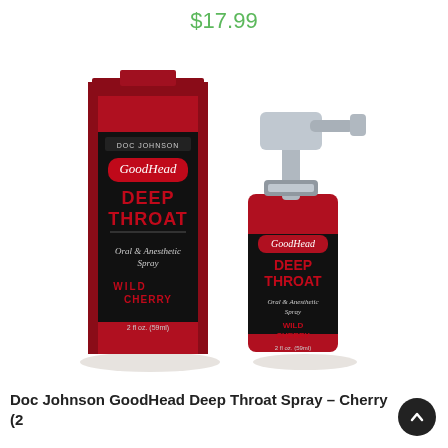$17.99
[Figure (photo): Product photo showing Doc Johnson GoodHead Deep Throat Oral Anesthetic Spray Wild Cherry 2 fl oz (59ml) — a red and black box next to the spray bottle with silver pump top.]
Doc Johnson GoodHead Deep Throat Spray – Cherry (2